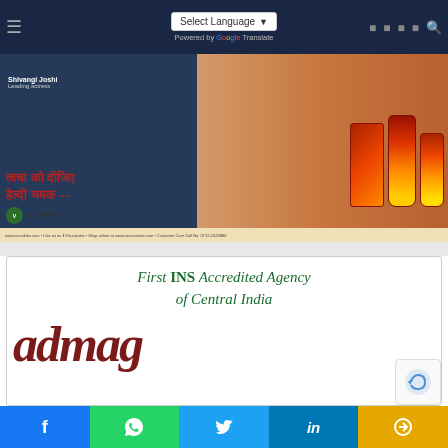Select Language ▼ | Powered by Google Translate
[Figure (illustration): Vicco Turmeric skin cream advertisement banner featuring Shivangi Joshi (Leading actress) with product tubes and box, Hindi text reading त्वचा को दीजिए हेल्दी चमक, Vicco Labs logo, सभी मेडिकल स्टोर्स में उपलब्ध है।, website and contact info]
[Figure (logo): First INS Accredited Agency of Central India promotional card with admag logo in dark red italic text on white background]
Facebook | WhatsApp | Twitter | LinkedIn | Share